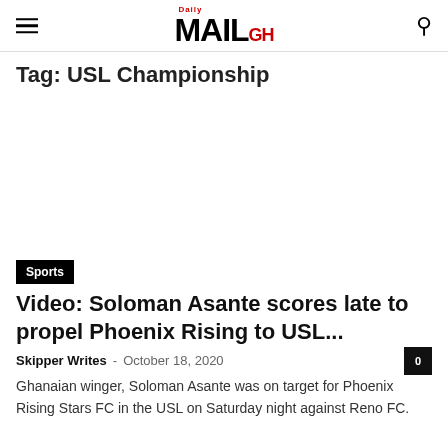Daily MAIL GH
Tag: USL Championship
[Figure (photo): Image placeholder area for article photo]
Sports
Video: Soloman Asante scores late to propel Phoenix Rising to USL...
Skipper Writes · October 18, 2020
Ghanaian winger, Soloman Asante was on target for Phoenix Rising Stars FC in the USL on Saturday night against Reno FC.